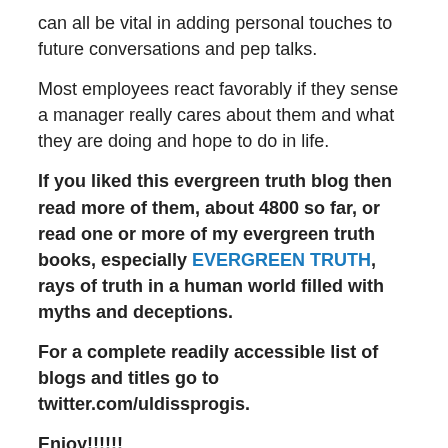can all be vital in adding personal touches to future conversations and pep talks.
Most employees react favorably if they sense a manager really cares about them and what they are doing and hope to do in life.
If you liked this evergreen truth blog then read more of them, about 4800 so far, or read one or more of my evergreen truth books, especially EVERGREEN TRUTH, rays of truth in a human world filled with myths and deceptions.
For a complete readily accessible list of blogs and titles go to twitter.com/uldissprogis.
Enjoy!!!!!!